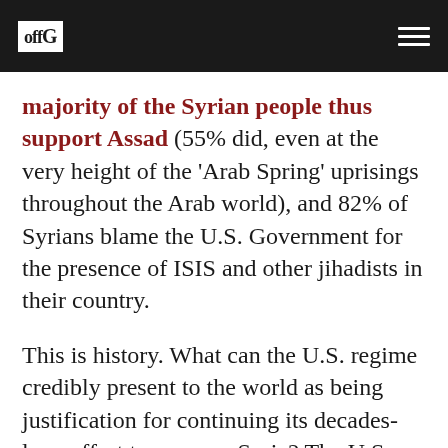offG [logo] [hamburger menu]
majority of the Syrian people thus support Assad (55% did, even at the very height of the 'Arab Spring' uprisings throughout the Arab world), and 82% of Syrians blame the U.S. Government for the presence of ISIS and other jihadists in their country.
This is history. What can the U.S. regime credibly present to the world as being justification for continuing its decades-long effort to conquer Syria? The U.S. regime condemns Syria's non-sectarian Government for humanitarian violations, fighting against the